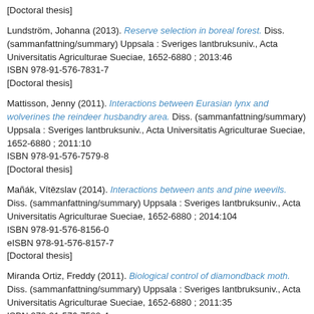[Doctoral thesis]
Lundström, Johanna (2013). Reserve selection in boreal forest. Diss. (sammanfattning/summary) Uppsala : Sveriges lantbruksuniv., Acta Universitatis Agriculturae Sueciae, 1652-6880 ; 2013:46
ISBN 978-91-576-7831-7
[Doctoral thesis]
Mattisson, Jenny (2011). Interactions between Eurasian lynx and wolverines the reindeer husbandry area. Diss. (sammanfattning/summary) Uppsala : Sveriges lantbruksuniv., Acta Universitatis Agriculturae Sueciae, 1652-6880 ; 2011:10
ISBN 978-91-576-7579-8
[Doctoral thesis]
Mañák, Vítězslav (2014). Interactions between ants and pine weevils. Diss. (sammanfattning/summary) Uppsala : Sveriges lantbruksuniv., Acta Universitatis Agriculturae Sueciae, 1652-6880 ; 2014:104
ISBN 978-91-576-8156-0
eISBN 978-91-576-8157-7
[Doctoral thesis]
Miranda Ortiz, Freddy (2011). Biological control of diamondback moth. Diss. (sammanfattning/summary) Uppsala : Sveriges lantbruksuniv., Acta Universitatis Agriculturae Sueciae, 1652-6880 ; 2011:35
ISBN 978-91-576-7580-4
[Doctoral thesis]
Montras Janer, Teresa (2021). Large grazing birds and crop damage : investigating spatial and temporal patterns to guide management practices. D... (sammanfattning/summary) Sveriges lantbruksuniv., Acta Universitatis